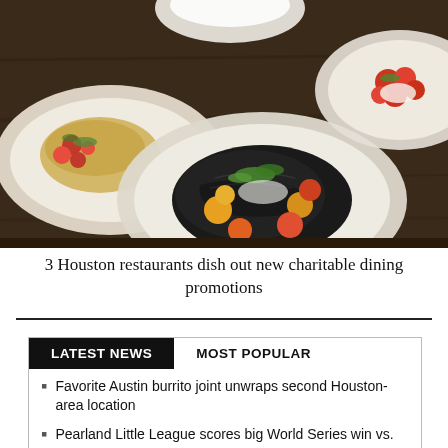[Figure (photo): Three white plates of food on a dark wooden table, featuring colorful dishes including black pasta with cherry tomatoes, a grain dish with tomatoes, and a tomato-topped dish]
3 Houston restaurants dish out new charitable dining promotions
LATEST NEWS   MOST POPULAR
Favorite Austin burrito joint unwraps second Houston-area location
Pearland Little League scores big World Series win vs. Iowa, moves on